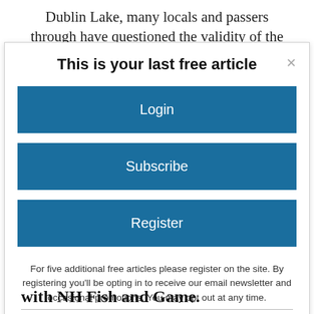Dublin Lake, many locals and passers through have questioned the validity of the
This is your last free article
Login
Subscribe
Register
For five additional free articles please register on the site. By registering you'll be opting in to receive our email newsletter and occasional promotions. You may opt out at any time.
with NH Fish and Game.